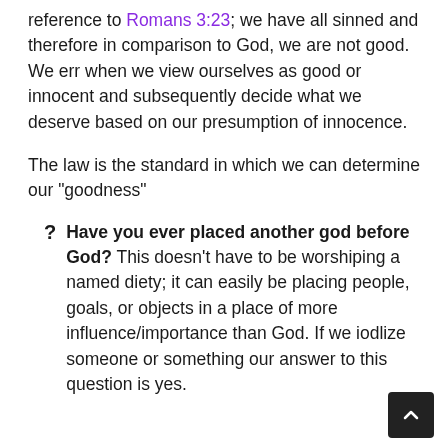reference to Romans 3:23; we have all sinned and therefore in comparison to God, we are not good. We err when we view ourselves as good or innocent and subsequently decide what we deserve based on our presumption of innocence.
The law is the standard in which we can determine our "goodness"
Have you ever placed another god before God? This doesn't have to be worshiping a named diety; it can easily be placing people, goals, or objects in a place of more influence/importance than God. If we iodlize someone or something our answer to this question is yes.